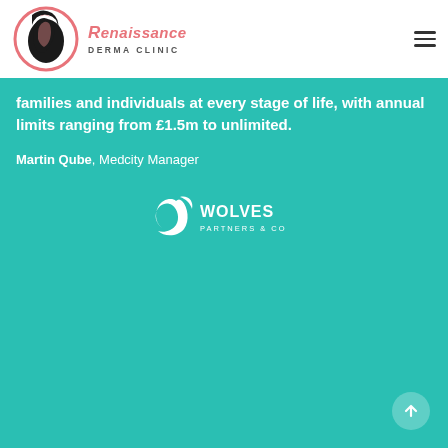[Figure (logo): Renaissance Derma Clinic logo — circular black silhouette of a woman's face with pink accent, beside the text 'Renaissance DERMA CLINIC']
families and individuals at every stage of life, with annual limits ranging from £1.5m to unlimited.
Martin Qube, Medcity Manager
[Figure (logo): Wolves Partners & Co logo — white dolphin/wave icon beside 'WOLVES PARTNERS & CO' text in white]